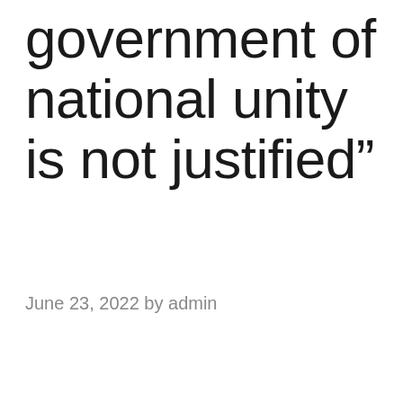government of national unity is not justified”
June 23, 2022 by admin